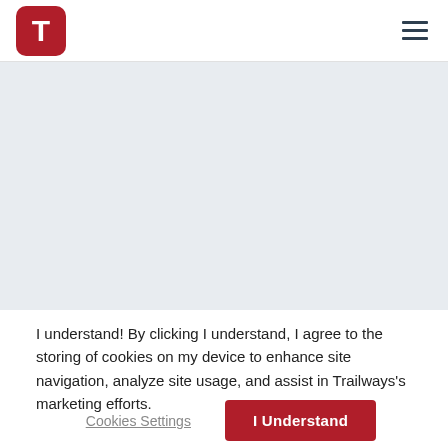[Figure (logo): Trailways logo: red rounded square with white T letter, top left of header]
[Figure (illustration): Hamburger menu icon (three horizontal lines) on the top right of the header]
[Figure (other): Light blue-gray banner/hero image area below the header]
I understand! By clicking I understand, I agree to the storing of cookies on my device to enhance site navigation, analyze site usage, and assist in Trailways's marketing efforts.
Cookies Settings
I Understand